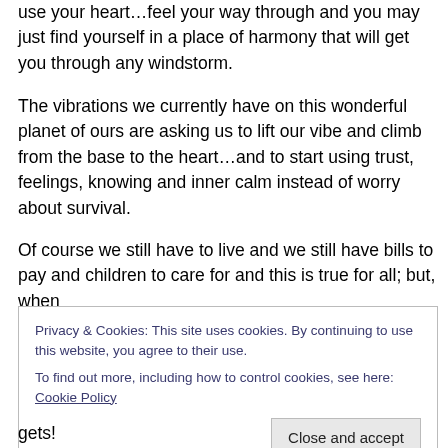use your heart…feel your way through and you may just find yourself in a place of harmony that will get you through any windstorm.
The vibrations we currently have on this wonderful planet of ours are asking us to lift our vibe and climb from the base to the heart…and to start using trust, feelings, knowing and inner calm instead of worry about survival.
Of course we still have to live and we still have bills to pay and children to care for and this is true for all; but, when
Privacy & Cookies: This site uses cookies. By continuing to use this website, you agree to their use.
To find out more, including how to control cookies, see here: Cookie Policy
Close and accept
gets!